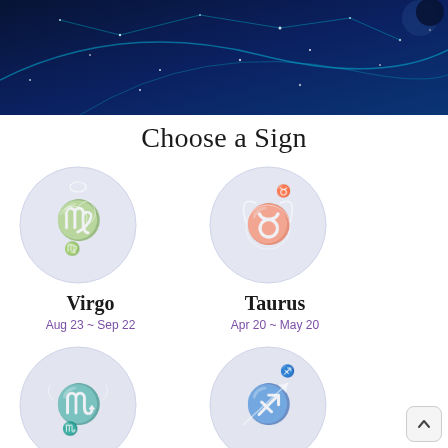[Figure (illustration): Dark navy blue banner with constellation star patterns and glowing teal lines against a night sky background]
Choose a Sign
[Figure (illustration): Circular zodiac sign icon for Virgo — light gray-blue circle with white line art of Virgo symbol, crescent moon, and decorative elements, gold Virgo glyph]
Virgo
Aug 23 ~ Sep 22
[Figure (illustration): Circular zodiac sign icon for Taurus — light gray-blue circle with white line art of bull head with horns, gold Taurus glyph at top]
Taurus
Apr 20 ~ May 20
[Figure (illustration): Circular zodiac sign icon for Scorpio — light gray-blue circle with white line art of scorpion, gold Scorpio glyph]
[Figure (illustration): Circular zodiac sign icon for Sagittarius — light gray-blue circle with white line art of archer/centaur with bow and arrow]